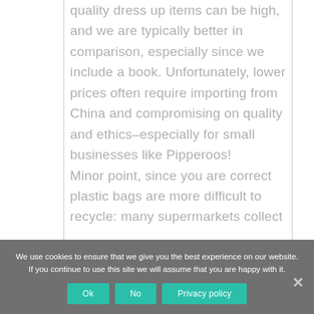quality dress up items can be high, and we are typically better in comparison, especially since we include a book. Unfortunately, lower prices often require importing from China and compromising on quality and ethics–especially for small businesses like Pipperoos! Minor point, since you are correct plastic bags are more difficult to recycle: many supermarkets collect
We use cookies to ensure that we give you the best experience on our website. If you continue to use this site we will assume that you are happy with it.